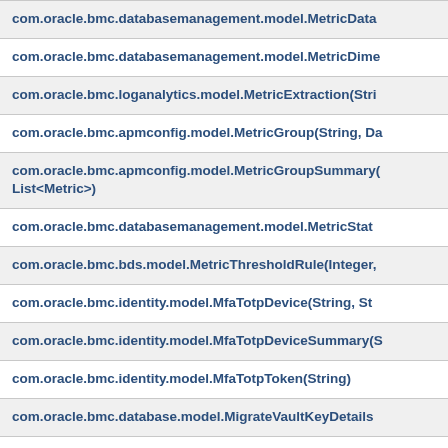com.oracle.bmc.databasemanagement.model.MetricData
com.oracle.bmc.databasemanagement.model.MetricDime
com.oracle.bmc.loganalytics.model.MetricExtraction(Stri
com.oracle.bmc.apmconfig.model.MetricGroup(String, Da
com.oracle.bmc.apmconfig.model.MetricGroupSummary(
List<Metric>)
com.oracle.bmc.databasemanagement.model.MetricStat
com.oracle.bmc.bds.model.MetricThresholdRule(Integer,
com.oracle.bmc.identity.model.MfaTotpDevice(String, St
com.oracle.bmc.identity.model.MfaTotpDeviceSummary(S
com.oracle.bmc.identity.model.MfaTotpToken(String)
com.oracle.bmc.database.model.MigrateVaultKeyDetails
com.oracle.bmc.databasemigration.model.Migration(Stri
DumpTransferDetails, DataPumpSettings, AdvisorSetting
MigrationStatus, Map<String, String>, Map<String, Map
com.oracle.bmc.applicationmigration.model.Migration(St
ConfigurationField>, Map<String, ConfigurationField>, M